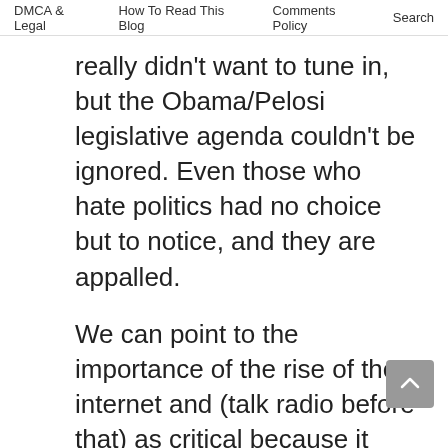DMCA & Legal   How To Read This Blog   Comments Policy   Search
really didn't want to tune in, but the Obama/Pelosi legislative agenda couldn't be ignored. Even those who hate politics had no choice but to notice, and they are appalled.
We can point to the importance of the rise of the internet and (talk radio before that) as critical because it ended the news media's monopoly on information. Clearly, it's a factor. Lots of other influences all contributed (financial crisis and TARP, housing losses, market volatility, unemployment, European meltdowns, etc.). They all helped to create concerns and dissatisfaction. But where we are now